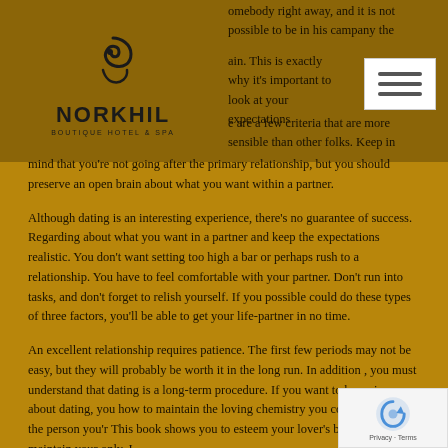[Figure (logo): Norkhil Boutique Hotel & Spa logo with swirl icon]
omebody right away, and it is not possible to be in his campany the again. This is exactly why it’s important to look at your expectations e are a few criteria that are more sensible than other folks. Keep in mind that you’re not going after the primary relationship, but you should preserve an open brain about what you want within a partner.
Although dating is an interesting experience, there’s no guarantee of success. Regarding about what you want in a partner and keep the expectations realistic. You don’t want setting too high a bar or perhaps rush to a relationship. You have to feel comfortable with your partner. Don’t run into tasks, and don’t forget to relish yourself. If you possible could do these types of three factors, you’ll be able to get your life-partner in no time.
An excellent relationship requires patience. The first few periods may not be easy, but they will probably be worth it in the long run. In addition , you must understand that dating is a long-term procedure. If you want to be serious about dating, you how to maintain the loving chemistry you could have with the person you’r This book shows you to esteem your lover’s boundaries and maintain your only. I